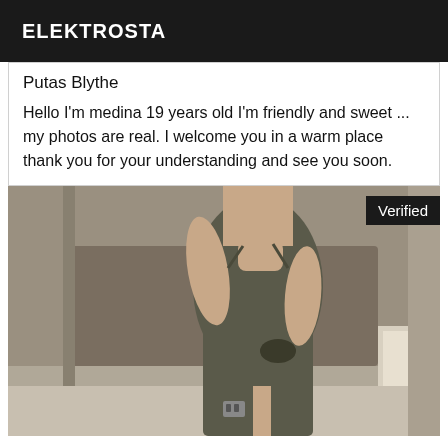ELEKTROSTA
Putas Blythe
Hello I'm medina 19 years old I'm friendly and sweet ... my photos are real. I welcome you in a warm place thank you for your understanding and see you soon.
[Figure (photo): Person in a dark olive ribbed dress taking a mirror selfie in a hotel room. A 'Verified' badge appears in the top right corner.]